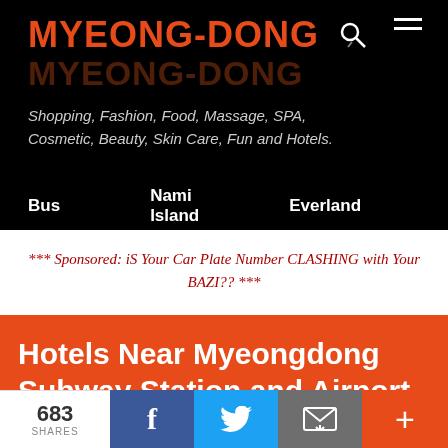MYEONG-DONG
Shopping, Fashion, Food, Massage, SPA, Cosmetic, Beauty, Skin Care, Fun and Hotels.
Bus   Nami Island   Everland
*** Sponsored: iS Your Car Plate Number CLASHING with Your BAZI?? ***
Hotels Near Myeongdong Subway Station and Airport Shuttle Station
683 SHARES